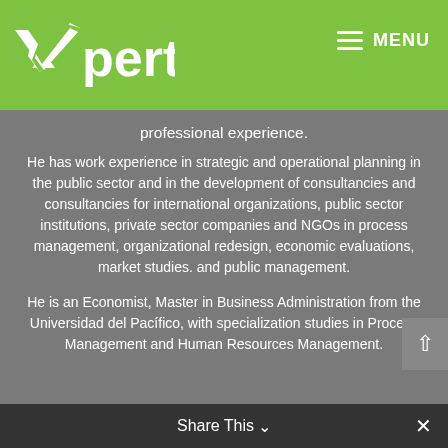[Figure (logo): Xperta logo — green background with white X mark and 'perta' text in white]
MENU
professional experience.
He has work experience in strategic and operational planning in the public sector and in the development of consultancies and consultancies for international organizations, public sector institutions, private sector companies and NGOs in process management, organizational redesign, economic evaluations, market studies. and public management.
He is an Economist, Master in Business Administration from the Universidad del Pacífico, with specialization studies in Process Management and Human Resources Management.
Share This